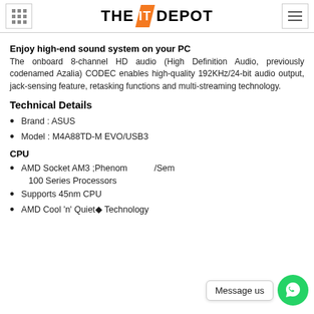THE IT DEPOT
Enjoy high-end sound system on your PC
The onboard 8-channel HD audio (High Definition Audio, previously codenamed Azalia) CODEC enables high-quality 192KHz/24-bit audio output, jack-sensing feature, retasking functions and multi-streaming technology.
Technical Details
Brand : ASUS
Model : M4A88TD-M EVO/USB3
CPU
AMD Socket AM3 ;Phenom ... /Sem 100 Series Processors
Supports 45nm CPU
AMD Cool 'n' Quiet® Technology